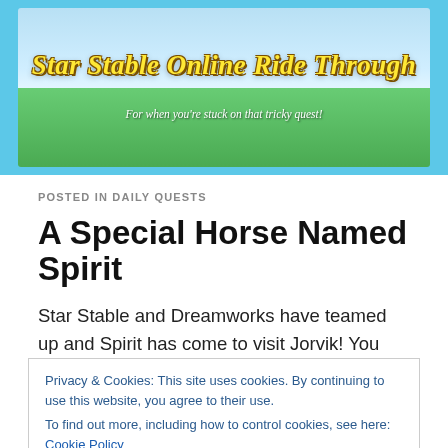[Figure (illustration): Star Stable Online Ride Through website banner with lighthouse, green hills, blue sky, trees. Yellow italic text reads 'Star Stable Online Ride Through' with white italic subtitle 'For when you're stuck on that tricky quest!']
POSTED IN DAILY QUESTS
A Special Horse Named Spirit
Star Stable and Dreamworks have teamed up and Spirit has come to visit Jorvik! You can learn more about him by visiting Tori near the Fort Pinta fountain.
Privacy & Cookies: This site uses cookies. By continuing to use this website, you agree to their use.
To find out more, including how to control cookies, see here: Cookie Policy
Close and accept